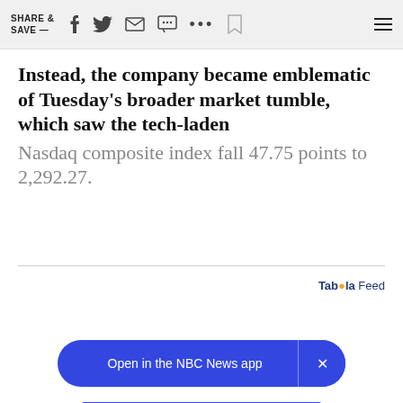SHARE & SAVE —
Instead, the company became emblematic of Tuesday's broader market tumble, which saw the tech-laden Nasdaq composite index fall 47.75 points to 2,292.27.
CONTINUE READING
Taboola Feed
Open in the NBC News app